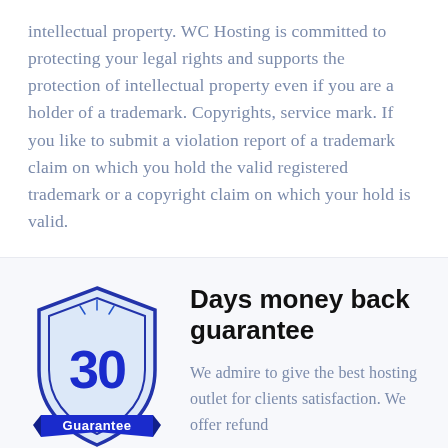intellectual property. WC Hosting is committed to protecting your legal rights and supports the protection of intellectual property even if you are a holder of a trademark. Copyrights, service mark. If you like to submit a violation report of a trademark claim on which you hold the valid registered trademark or a copyright claim on which your hold is valid.
[Figure (illustration): A shield badge with the number 30 in dark blue and a banner reading 'Guarantee' at the bottom, representing a 30-day money back guarantee]
Days money back guarantee
We admire to give the best hosting outlet for clients satisfaction. We offer refund